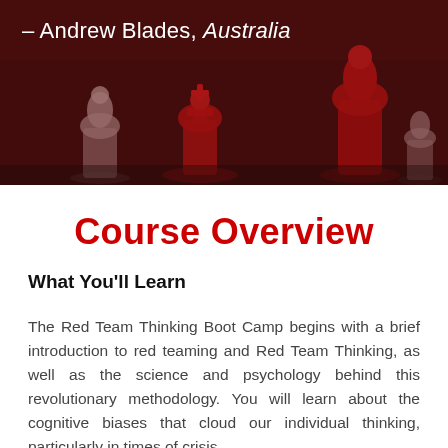[Figure (photo): Dark background photo of chess pieces (red and white) on a chess board, partially overlaid with a dark red tint]
– Andrew Blades, Australia
Course Overview
What You'll Learn
The Red Team Thinking Boot Camp begins with a brief introduction to red teaming and Red Team Thinking, as well as the science and psychology behind this revolutionary methodology. You will learn about the cognitive biases that cloud our individual thinking, particularly in times of crisis,